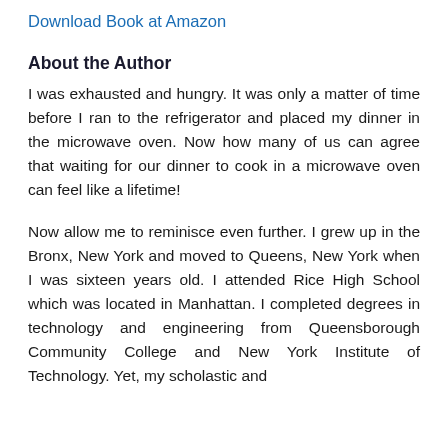Download Book at Amazon
About the Author
I was exhausted and hungry. It was only a matter of time before I ran to the refrigerator and placed my dinner in the microwave oven. Now how many of us can agree that waiting for our dinner to cook in a microwave oven can feel like a lifetime!
Now allow me to reminisce even further. I grew up in the Bronx, New York and moved to Queens, New York when I was sixteen years old. I attended Rice High School which was located in Manhattan. I completed degrees in technology and engineering from Queensborough Community College and New York Institute of Technology. Yet, my scholastic and